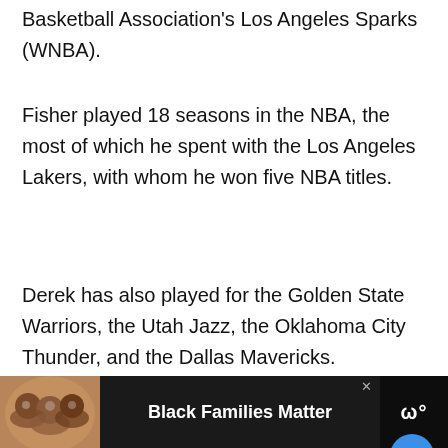Basketball Association's Los Angeles Sparks (WNBA).
Fisher played 18 seasons in the NBA, the most of which he spent with the Los Angeles Lakers, with whom he won five NBA titles.
Derek has also played for the Golden State Warriors, the Utah Jazz, the Oklahoma City Thunder, and the Dallas Mavericks.
Likewise, the player has also served as the National Basketball Players Association's president (NBP…
[Figure (other): Ad banner at bottom: dark background, photo of smiling family, text 'Black Families Matter', and a logo.]